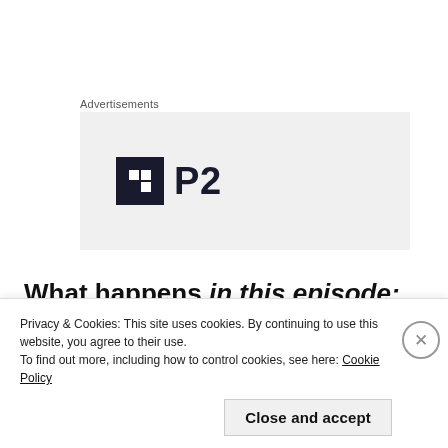Advertisements
[Figure (logo): P2 logo: dark square icon with white squares inside, followed by bold text 'P2']
What happens in this episode: Gintoki, Takasugi, Sakamoto, Katsura and Shinpachi fend off against the Tendoshou underlings- but three of Gintoki's comrades paves a way for him and Shinpachi to
Privacy & Cookies: This site uses cookies. By continuing to use this website, you agree to their use. To find out more, including how to control cookies, see here: Cookie Policy
Close and accept